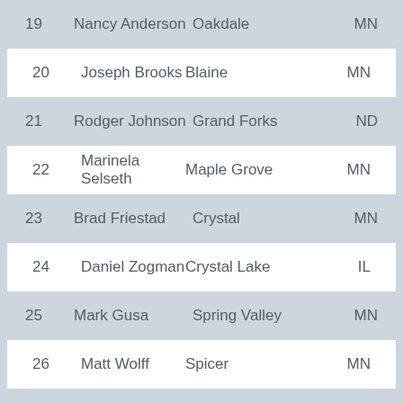| # | Name | City | State |
| --- | --- | --- | --- |
| 19 | Nancy Anderson | Oakdale | MN |
| 20 | Joseph Brooks | Blaine | MN |
| 21 | Rodger Johnson | Grand Forks | ND |
| 22 | Marinela Selseth | Maple Grove | MN |
| 23 | Brad Friestad | Crystal | MN |
| 24 | Daniel Zogman | Crystal Lake | IL |
| 25 | Mark Gusa | Spring Valley | MN |
| 26 | Matt Wolff | Spicer | MN |